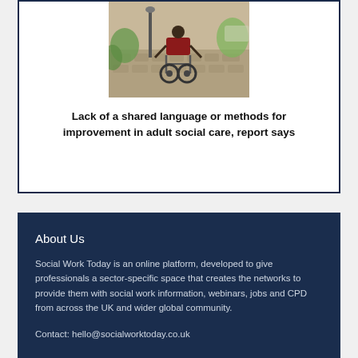[Figure (photo): Person in a wheelchair viewed from behind on a cobblestone path outdoors]
Lack of a shared language or methods for improvement in adult social care, report says
About Us
Social Work Today is an online platform, developed to give professionals a sector-specific space that creates the networks to provide them with social work information, webinars, jobs and CPD from across the UK and wider global community.
Contact: hello@socialworktoday.co.uk
Advertise with us
There are a number of options to promote your